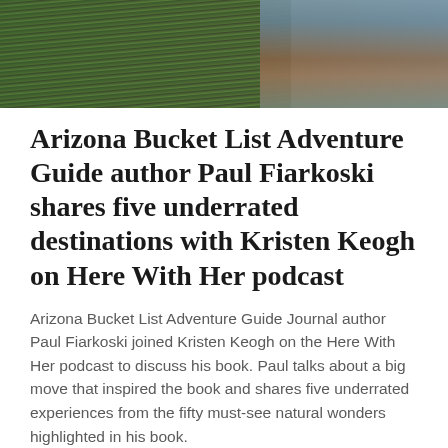[Figure (photo): Outdoor nature photo showing green reeds/grass on the left and reddish-brown water or canyon reflection on the right]
Arizona Bucket List Adventure Guide author Paul Fiarkoski shares five underrated destinations with Kristen Keogh on Here With Her podcast
Arizona Bucket List Adventure Guide Journal author Paul Fiarkoski joined Kristen Keogh on the Here With Her podcast to discuss his book. Paul talks about a big move that inspired the book and shares five underrated experiences from the fifty must-see natural wonders highlighted in his book.
#Ancestral, #arizonabucketlist, #Hike, #hiking, #People, #Plants, #trails